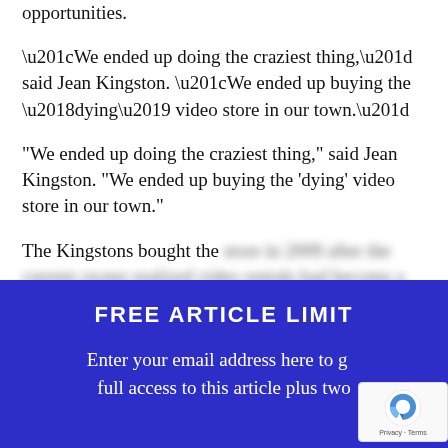opportunities.
“We ended up doing the craziest thing,” said Jean Kingston. “We ended up buying the ‘dying’ video store in our town.”
The Kingstons bought the [blurred text continues]
FREE ARTICLE LIMIT
Enter your email address here to get full access to this article plus two [continues]